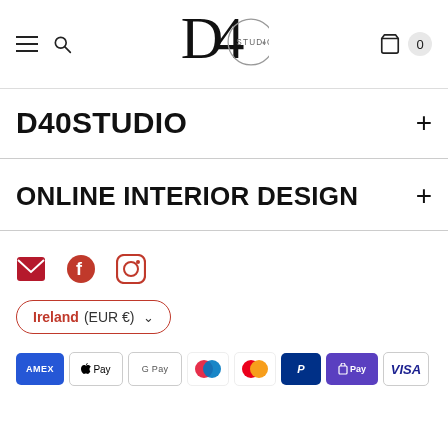[Figure (logo): D40 Studio logo in header navigation bar]
D40STUDIO
ONLINE INTERIOR DESIGN
[Figure (infographic): Social media icons: email, Facebook, Instagram]
Ireland (EUR €)
[Figure (infographic): Payment method icons: Amex, Apple Pay, Google Pay, Maestro, Mastercard, PayPal, Shop Pay, Visa]